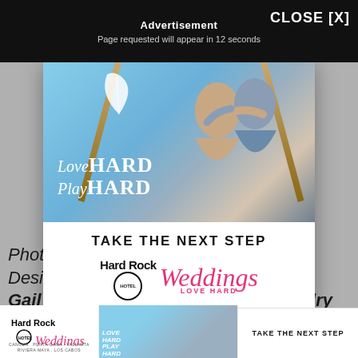Advertisement
Page requested will appear in 12 seconds
CLOSE [X]
[Figure (illustration): Hard Rock Hotel Weddings advertisement. Top half shows a couple embracing romantically against a blue sky with decorative wooden poles and feathers. Text overlay reads 'Love HARD Play HARD'. Bottom white section reads 'TAKE THE NEXT STEP' with Hard Rock Hotel Weddings branding and 'LOVE HARD' tagline. Locations listed: CANCUN . PUNTA CANA . VALLARTA / RIVIERA MAYA . LOS CABOS / AN ALL-INCLUSIVE EXPERIENCE]
Photo by Callaway Gable; Planning & Design by Bob Gail Special Events; Rentals by Revelry Event Design